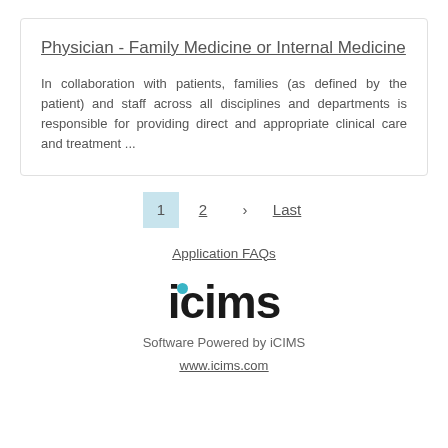Physician - Family Medicine or Internal Medicine
In collaboration with patients, families (as defined by the patient) and staff across all disciplines and departments is responsible for providing direct and appropriate clinical care and treatment ...
1  2  >  Last
Application FAQs
[Figure (logo): iCIMS logo with teal dot above the letter i]
Software Powered by iCIMS
www.icims.com